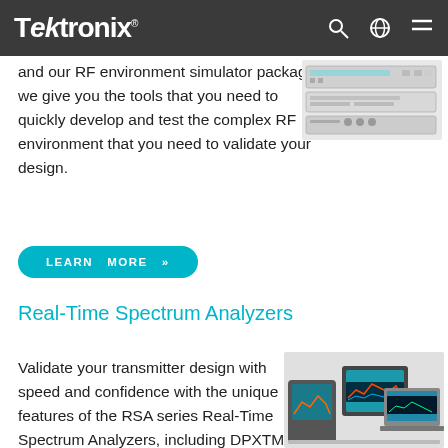Tektronix
and our RF environment simulator package we give you the tools that you need to quickly develop and test the complex RF environment that you need to validate your design.
[Figure (photo): Photo of Tektronix RF test equipment rack units stacked]
LEARN  MORE  »
Real-Time Spectrum Analyzers
Validate your transmitter design with speed and confidence with the unique features of the RSA series Real-Time Spectrum Analyzers, including DPXTM live
[Figure (photo): Photo of Tektronix RSA series Real-Time Spectrum Analyzers including handheld and desktop units with screens showing spectrum displays]